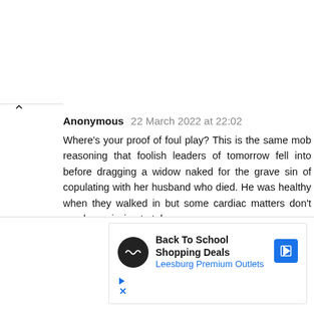Anonymous 22 March 2022 at 22:02
Where's your proof of foul play? This is the same mob reasoning that foolish leaders of tomorrow fell into before dragging a widow naked for the grave sin of copulating with her husband who died. He was healthy when they walked in but some cardiac matters don't need permission to take
[Figure (infographic): Advertisement banner for Back To School Shopping Deals at Leesburg Premium Outlets with logo icon and navigation arrow icon]
Back To School Shopping Deals
Leesburg Premium Outlets